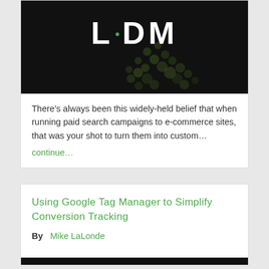[Figure (logo): LDM logo — white text 'LDM' with a green dot on a black background with green/dark scattered dot pattern]
There's always been this widely-held belief that when running paid search campaigns to e-commerce sites, that was your shot to turn them into custom…
continue…
Using Google Tag Manager to Simplify Conversion Tracking
By  Mike LaLonde
[Figure (photo): Dark image strip at bottom of second card]